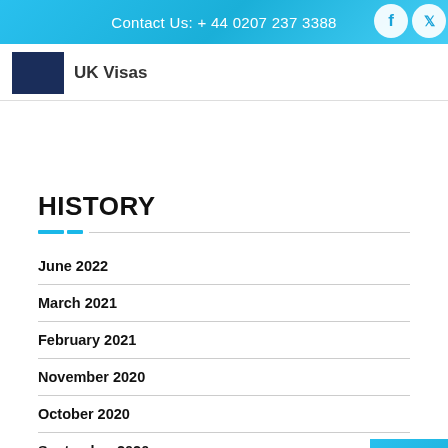Contact Us: + 44 0207 237 3388
UK Visas
HISTORY
June 2022
March 2021
February 2021
November 2020
October 2020
September 2020
August 2020